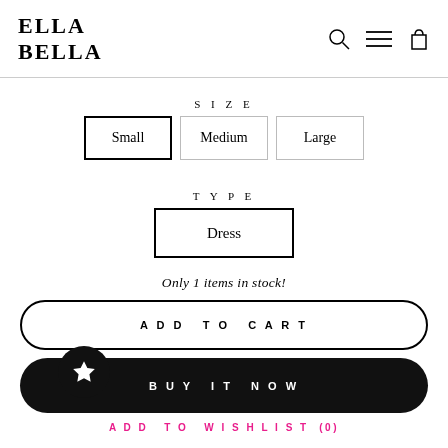ELLA BELLA
SIZE
Small  Medium  Large
TYPE
Dress
Only 1 items in stock!
ADD TO CART
BUY IT NOW
ADD TO WISHLIST (0)